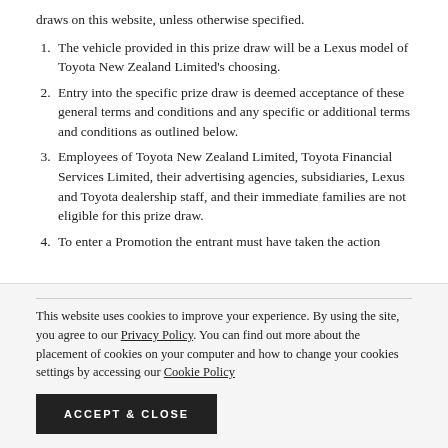draws on this website, unless otherwise specified.
The vehicle provided in this prize draw will be a Lexus model of Toyota New Zealand Limited's choosing.
Entry into the specific prize draw is deemed acceptance of these general terms and conditions and any specific or additional terms and conditions as outlined below.
Employees of Toyota New Zealand Limited, Toyota Financial Services Limited, their advertising agencies, subsidiaries, Lexus and Toyota dealership staff, and their immediate families are not eligible for this prize draw.
To enter a Promotion the entrant must have taken the action
This website uses cookies to improve your experience. By using the site, you agree to our Privacy Policy. You can find out more about the placement of cookies on your computer and how to change your cookies settings by accessing our Cookie Policy
ACCEPT & CLOSE